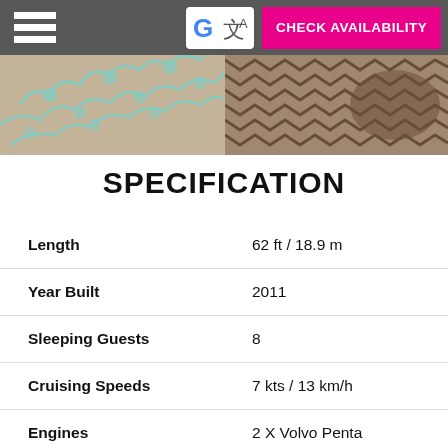[Figure (screenshot): Website header with hamburger menu icon on left, Google Translate icon in center, and a pink CHECK AVAILABILITY button on the right. Below is a photo of patterned bed fabrics — teal floral pattern on left, brown chevron/geometric pattern on right.]
SPECIFICATION
|  |  |
| --- | --- |
| Length | 62 ft / 18.9 m |
| Year Built | 2011 |
| Sleeping Guests | 8 |
| Cruising Speeds | 7 kts / 13 km/h |
| Engines | 2 X Volvo Penta |